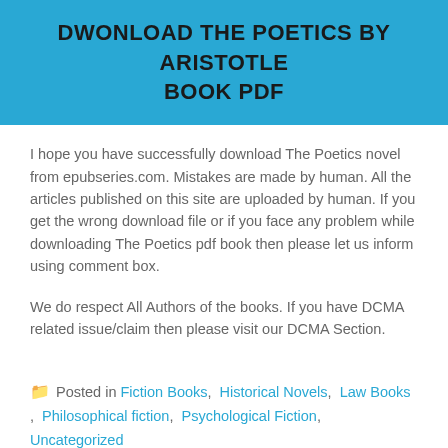DWONLOAD THE POETICS BY ARISTOTLE BOOK PDF
I hope you have successfully download The Poetics novel from epubseries.com. Mistakes are made by human. All the articles published on this site are uploaded by human. If you get the wrong download file or if you face any problem while downloading The Poetics pdf book then please let us inform using comment box.
We do respect All Authors of the books. If you have DCMA related issue/claim then please visit our DCMA Section.
Posted in Fiction Books, Historical Novels, Law Books, Philosophical fiction, Psychological Fiction, Uncategorized